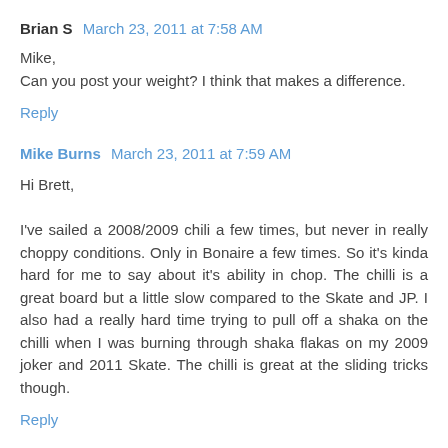Brian S  March 23, 2011 at 7:58 AM
Mike,
Can you post your weight? I think that makes a difference.
Reply
Mike Burns  March 23, 2011 at 7:59 AM
Hi Brett,

I've sailed a 2008/2009 chili a few times, but never in really choppy conditions. Only in Bonaire a few times. So it's kinda hard for me to say about it's ability in chop. The chilli is a great board but a little slow compared to the Skate and JP. I also had a really hard time trying to pull off a shaka on the chilli when I was burning through shaka flakas on my 2009 joker and 2011 Skate. The chilli is great at the sliding tricks though.
Reply